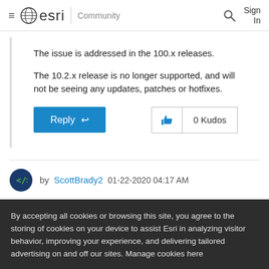esri Community
The issue is addressed in the 100.x releases.
The 10.2.x release is no longer supported, and will not be seeing any updates, patches or hotfixes.
Reply | 0 Kudos
by ScottBrady2  01-22-2020 04:17 AM
By accepting all cookies or browsing this site, you agree to the storing of cookies on your device to assist Esri in analyzing visitor behavior, improving your experience, and delivering tailored advertising on and off our sites. Manage cookies here